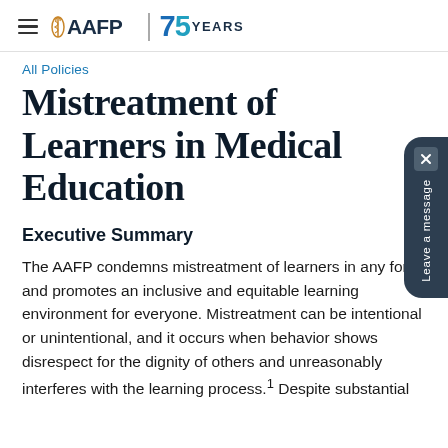AAFP | 75 YEARS
All Policies
Mistreatment of Learners in Medical Education
Executive Summary
The AAFP condemns mistreatment of learners in any form and promotes an inclusive and equitable learning environment for everyone. Mistreatment can be intentional or unintentional, and it occurs when behavior shows disrespect for the dignity of others and unreasonably interferes with the learning process.¹ Despite substantial